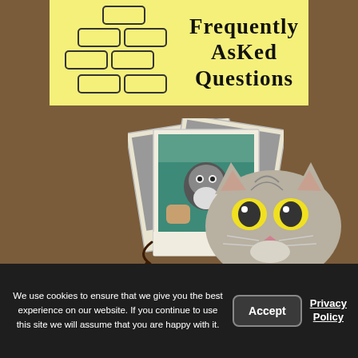[Figure (illustration): Yellow sticky note banner with hand-drawn brick pattern on left and 'Frequently Asked Questions' text on right in bold handwritten font]
[Figure (photo): Stacked polaroid photos showing a veterinarian in teal scrubs holding a long-haired black and white cat]
Click Here to Visit our Photo Gallery
[Figure (photo): A tabby/gray cat face peeking up from the bottom of the page with large round eyes]
We use cookies to ensure that we give you the best experience on our website. If you continue to use this site we will assume that you are happy with it.
Accept
Privacy Policy